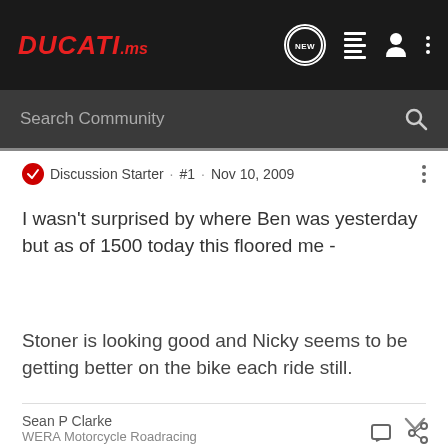DUCATI.ms
Search Community
Discussion Starter · #1 · Nov 10, 2009
I wasn't surprised by where Ben was yesterday but as of 1500 today this floored me -
Stoner is looking good and Nicky seems to be getting better on the bike each ride still.
Sean P Clarke
WERA Motorcycle Roadracing